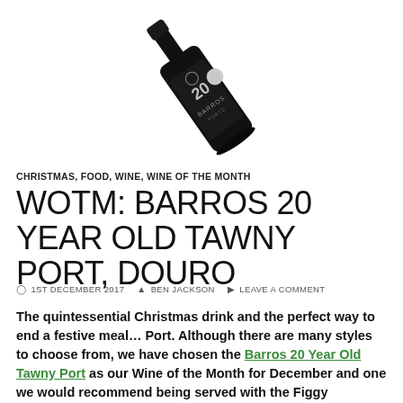[Figure (photo): A dark wine bottle of Barros 20 Year Old Tawny Port, tilted diagonally with black label showing '20' and 'BARROS PORTO' text]
CHRISTMAS, FOOD, WINE, WINE OF THE MONTH
WOTM: BARROS 20 YEAR OLD TAWNY PORT, DOURO
1ST DECEMBER 2017  BEN JACKSON  LEAVE A COMMENT
The quintessential Christmas drink and the perfect way to end a festive meal... Port. Although there are many styles to choose from, we have chosen the Barros 20 Year Old Tawny Port as our Wine of the Month for December and one we would recommend being served with the Figgy Pudding.